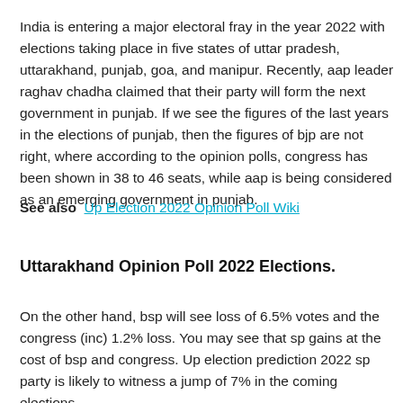India is entering a major electoral fray in the year 2022 with elections taking place in five states of uttar pradesh, uttarakhand, punjab, goa, and manipur. Recently, aap leader raghav chadha claimed that their party will form the next government in punjab. If we see the figures of the last years in the elections of punjab, then the figures of bjp are not right, where according to the opinion polls, congress has been shown in 38 to 46 seats, while aap is being considered as an emerging government in punjab.
See also  Up Election 2022 Opinion Poll Wiki
Uttarakhand Opinion Poll 2022 Elections.
On the other hand, bsp will see loss of 6.5% votes and the congress (inc) 1.2% loss. You may see that sp gains at the cost of bsp and congress. Up election prediction 2022 sp party is likely to witness a jump of 7% in the coming elections.